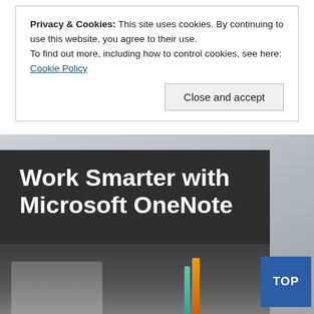Privacy & Cookies: This site uses cookies. By continuing to use this website, you agree to their use.
To find out more, including how to control cookies, see here: Cookie Policy
Close and accept
[Figure (photo): Book cover for 'Work Smarter with Microsoft OneNote' — dark background with bold white title text, a copper/gold horizontal rule, subtitle text in lighter white, and a laptop/office desk scene at bottom. A blue 'TOP' button appears at bottom right.]
Work Smarter with Microsoft OneNote
An expert guide to setting up OneNote notebooks to become more organized, efficient, and productive